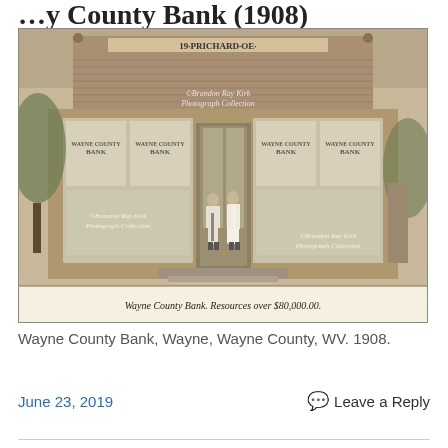Wayne County Bank (1908)
[Figure (photo): Black and white historical photograph of the Wayne County Bank building in Wayne, WV, 1908. A two-story brick building with large storefront windows displaying 'Wayne County Bank' signage. Two men stand in the doorway. Text at bottom reads 'Wayne County Bank. Resources over $80,000.00.' Watermarks read '©Brandon Ray Kirk Photograph Collection'.]
Wayne County Bank, Wayne, Wayne County, WV. 1908.
June 23, 2019
Leave a Reply